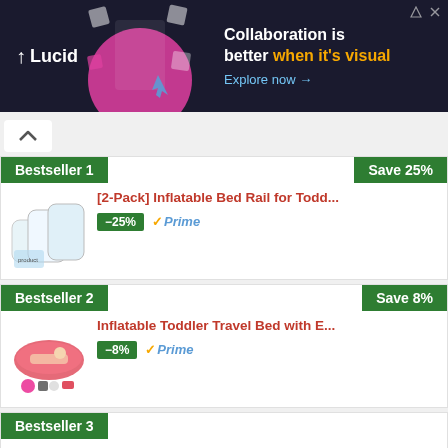[Figure (screenshot): Lucid ad banner with dark background showing collaboration message and logo]
Bestseller 1
Save 25%
[Figure (photo): Inflatable bed rail product image]
[2-Pack] Inflatable Bed Rail for Todd...
-25%
Prime
Bestseller 2
Save 8%
[Figure (photo): Inflatable toddler travel bed product image]
Inflatable Toddler Travel Bed with E...
-8%
Prime
Bestseller 3
[Figure (photo): hiccapop inflatable toddler travel bed product image]
hiccapop Inflatable Toddler Travel B...
Prime